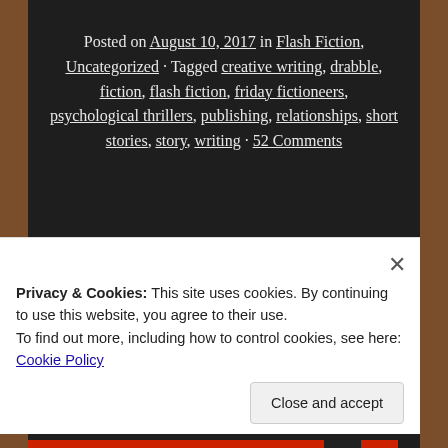Posted on August 10, 2017 in Flash Fiction, Uncategorized • Tagged creative writing, drabble, fiction, flash fiction, friday fictioneers, psychological thrillers, publishing, relationships, short stories, story, writing • 52 Comments
[Figure (illustration): A hand-drawn white chalk divider line on chalkboard]
Flash Fiction - We Stand
Privacy & Cookies: This site uses cookies. By continuing to use this website, you agree to their use. To find out more, including how to control cookies, see here: Cookie Policy
Close and accept